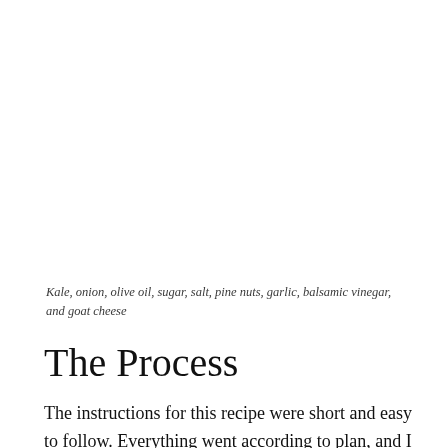Kale, onion, olive oil, sugar, salt, pine nuts, garlic, balsamic vinegar, and goat cheese
The Process
The instructions for this recipe were short and easy to follow. Everything went according to plan, and I had my